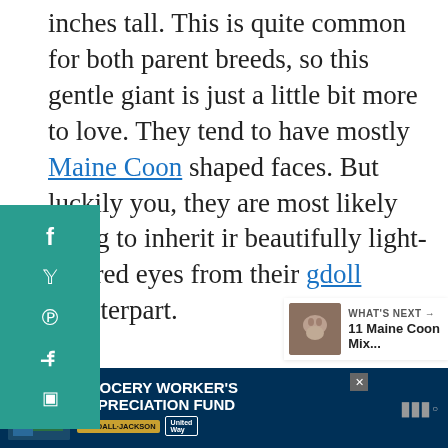inches tall. This is quite common for both parent breeds, so this gentle giant is just a little bit more to love. They tend to have mostly Maine Coon shaped faces. But luckily you, they are most likely going to inherit ir beautifully light-colored eyes from their gdoll counterpart.
[Figure (infographic): Teal social media sharing sidebar with Facebook, Twitter, Pinterest, Flipboard, and another share icon buttons]
[Figure (infographic): Heart/like button (teal circle with heart icon), count 115, and share button (circle with share icon)]
[Figure (infographic): What's Next panel showing a cat thumbnail image with text '11 Maine Coon Mix...']
[Figure (infographic): Advertisement banner: Grocery Worker's Appreciation Fund with Kendall Jackson and United Way logos]